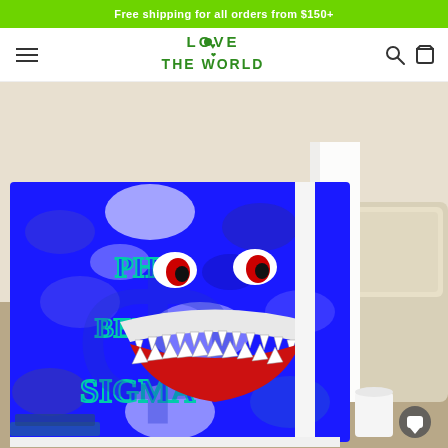Free shipping for all orders from $150+
[Figure (logo): Love The World store logo with green text and heart icon]
[Figure (photo): Phi Beta Sigma fraternity themed blue camo blanket with shark mouth design draped over a white couch in a living room setting]